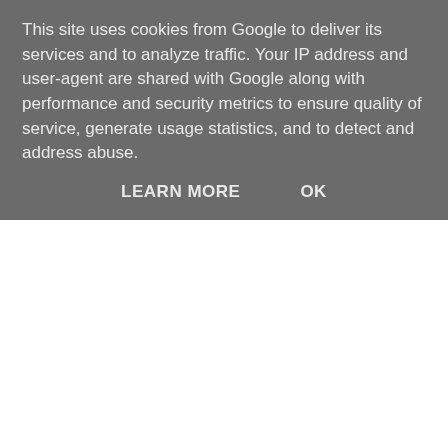This site uses cookies from Google to deliver its services and to analyze traffic. Your IP address and user-agent are shared with Google along with performance and security metrics to ensure quality of service, generate usage statistics, and to detect and address abuse.
LEARN MORE   OK
[Figure (photo): Book cover image showing 'Atacama' in red letters on black background with a woman's face on the right side]
Coloured by Martin Baines
of Garth 1976 London: IPC Limited, ©1975.
Garth Book Two: The Women of Galba Jim Edgar, London: Titan Books, 1985
Menomonee Falls Gazette #157 (16 December 1974) - #184 (23 June 1975)- 6 daily strips reprinted in B&W (none in #158 (23 December 1974) - no explanation given)
Daily Mirror Friday 11 September 2018+